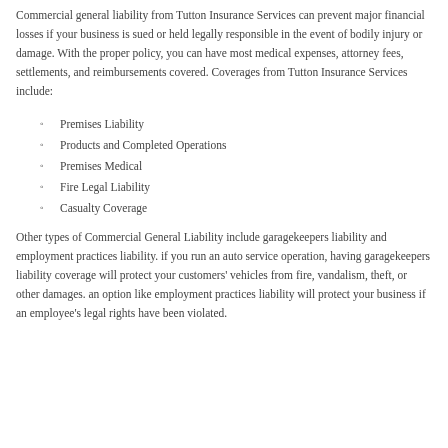Commercial general liability from Tutton Insurance Services can prevent major financial losses if your business is sued or held legally responsible in the event of bodily injury or damage. With the proper policy, you can have most medical expenses, attorney fees, settlements, and reimbursements covered. Coverages from Tutton Insurance Services include:
Premises Liability
Products and Completed Operations
Premises Medical
Fire Legal Liability
Casualty Coverage
Other types of Commercial General Liability include garagekeepers liability and employment practices liability. if you run an auto service operation, having garagekeepers liability coverage will protect your customers' vehicles from fire, vandalism, theft, or other damages. an option like employment practices liability will protect your business if an employee's legal rights have been violated.